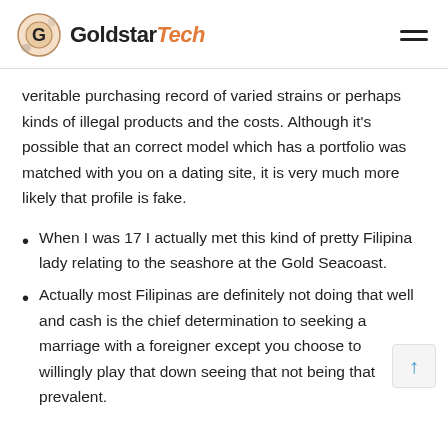GoldstarTech
veritable purchasing record of varied strains or perhaps kinds of illegal products and the costs. Although it's possible that an correct model which has a portfolio was matched with you on a dating site, it is very much more likely that profile is fake.
When I was 17 I actually met this kind of pretty Filipina lady relating to the seashore at the Gold Seacoast.
Actually most Filipinas are definitely not doing that well and cash is the chief determination to seeking a marriage with a foreigner except you choose to willingly play that down seeing that not being that prevalent.